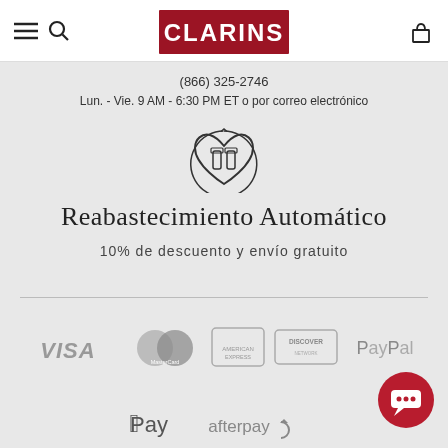CLARINS
(866) 325-2746
Lun. - Vie. 9 AM - 6:30 PM ET o por correo electrónico
[Figure (illustration): Heart icon with two product bottles inside, circular arrow around it]
Reabastecimiento Automático
10% de descuento y envío gratuito
[Figure (illustration): Payment method logos: VISA, MasterCard, American Express, Discover, PayPal, Apple Pay, afterpay]
[Figure (illustration): Red circular chat button with speech bubble icon]